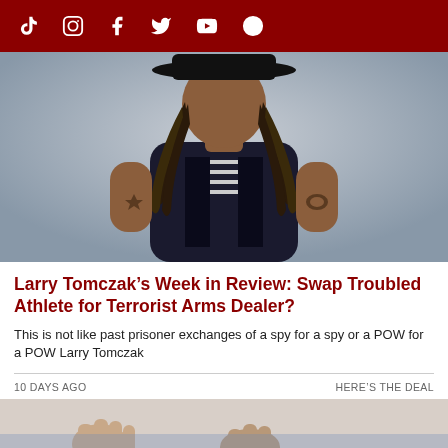Social media navigation bar with icons: TikTok, Instagram, Facebook, Twitter, YouTube, Pinterest
[Figure (photo): Portrait photo of a young person with dreadlocks and a wide-brim black hat, wearing a sleeveless dark vest over a striped shirt, with tattoos on both arms, against a light grey background.]
Larry Tomczak’s Week in Review: Swap Troubled Athlete for Terrorist Arms Dealer?
This is not like past prisoner exchanges of a spy for a spy or a POW for a POW Larry Tomczak
10 DAYS AGO
HERE’S THE DEAL
[Figure (photo): Partial bottom image, cropped, showing indistinct figures.]